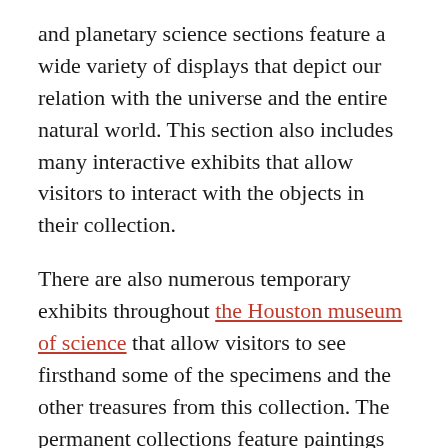and planetary science sections feature a wide variety of displays that depict our relation with the universe and the entire natural world. This section also includes many interactive exhibits that allow visitors to interact with the objects in their collection.
There are also numerous temporary exhibits throughout the Houston museum of science that allow visitors to see firsthand some of the specimens and the other treasures from this collection. The permanent collections feature paintings and sculptures by famous artists and famous natural scientists. You will also find many interactive exhibits that allow you to touch, see, smell, and taste the treasures from this collection.